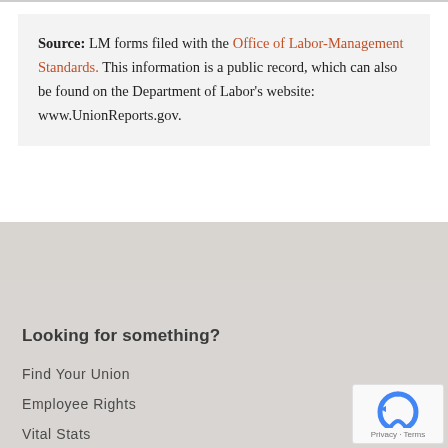Source: LM forms filed with the Office of Labor-Management Standards. This information is a public record, which can also be found on the Department of Labor's website: www.UnionReports.gov.
Looking for something?
Find Your Union
Employee Rights
Vital Stats
Union Member Resources
Our Advertisements